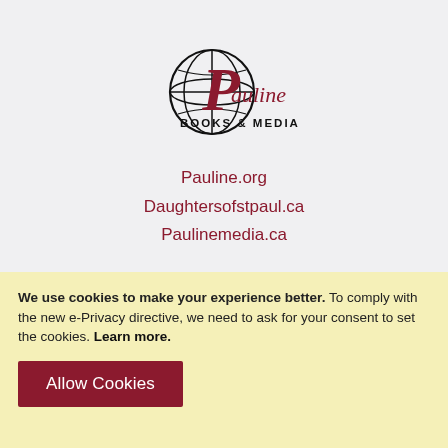[Figure (logo): Pauline Books & Media logo: a globe with a stylized 'P' and the text 'Pauline BOOKS & MEDIA']
Pauline.org
Daughtersofstpaul.ca
Paulinemedia.ca
We use cookies to make your experience better. To comply with the new e-Privacy directive, we need to ask for your consent to set the cookies. Learn more.
Allow Cookies